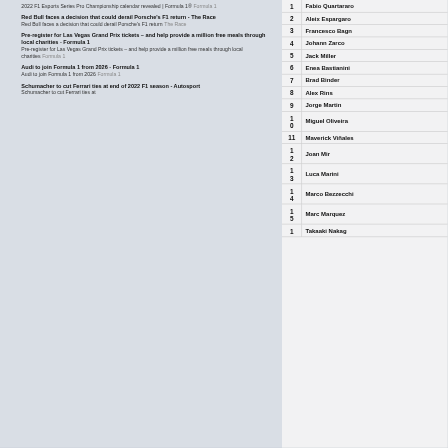2022 F1 Esports Series Pro Championship calendar revealed | Formula 1® Formula 1
Red Bull faces a decision that could derail Porsche's F1 return - The Race
Red Bull faces a decision that could derail Porsche's F1 return  The Race
Pre-register for Las Vegas Grand Prix tickets – and help provide a million free meals through local charities - Formula 1
Pre-register for Las Vegas Grand Prix tickets – and help provide a million free meals through local charities  Formula 1
Audi to join Formula 1 from 2026 - Formula 1
Audi to join Formula 1 from 2026  Formula 1
Schumacher to cut Ferrari ties at end of 2022 F1 season - Autosport
Schumacher to cut Ferrari ties at
| # | Name |
| --- | --- |
| 1 | Fabio Quartararo |
| 2 | Aleix Espargaro |
| 3 | Francesco Bagnaia |
| 4 | Johann Zarco |
| 5 | Jack Miller |
| 6 | Enea Bastianini |
| 7 | Brad Binder |
| 8 | Alex Rins |
| 9 | Jorge Martin |
| 10 | Miguel Oliveira |
| 11 | Maverick Viñales |
| 12 | Joan Mir |
| 13 | Luca Marini |
| 14 | Marco Bezzecchi |
| 15 | Marc Marquez |
| 16 | Takaaki Nakagami |